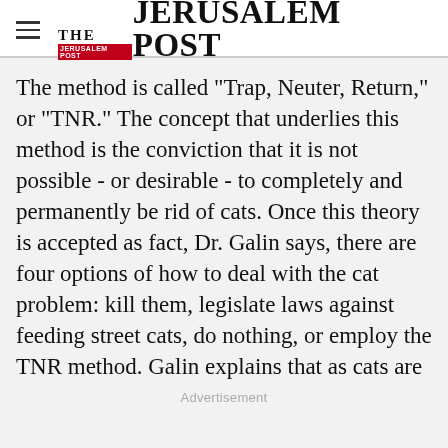THE JERUSALEM POST
The method is called "Trap, Neuter, Return," or "TNR." The concept that underlies this method is the conviction that it is not possible - or desirable - to completely and permanently be rid of cats. Once this theory is accepted as fact, Dr. Galin says, there are four options of how to deal with the cat problem: kill them, legislate laws against feeding street cats, do nothing, or employ the TNR method. Galin explains that as cats are
Advertisement